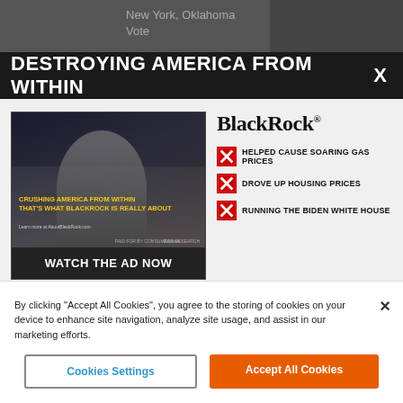[Figure (screenshot): Background blurred webpage showing news content about New York, Oklahoma Vote]
DESTROYING AMERICA FROM WITHIN
[Figure (screenshot): Ad with BlackRock video thumbnail showing a man in front of White House, with text CRUSHING AMERICA FROM WITHIN THAT'S WHAT BLACKROCK IS REALLY ABOUT and WATCH THE AD NOW button]
BlackRock
HELPED CAUSE SOARING GAS PRICES
DROVE UP HOUSING PRICES
RUNNING THE BIDEN WHITE HOUSE
ABOUTBLACKROCK.COM   PAID FOR BY CONSUMERS RESEARCH
By clicking “Accept All Cookies”, you agree to the storing of cookies on your device to enhance site navigation, analyze site usage, and assist in our marketing efforts.
Cookies Settings
Accept All Cookies